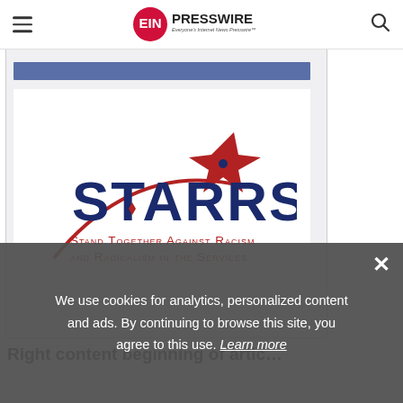EIN Presswire — Everyone's Internet News Presswire
[Figure (logo): STARRS logo — Stand Together Against Racism and Radicalism in the Services. Dark blue text STARRS with red arc and star above, subtitle in red small caps below.]
Right content beginning of article text (partially visible)
We use cookies for analytics, personalized content and ads. By continuing to browse this site, you agree to this use. Learn more